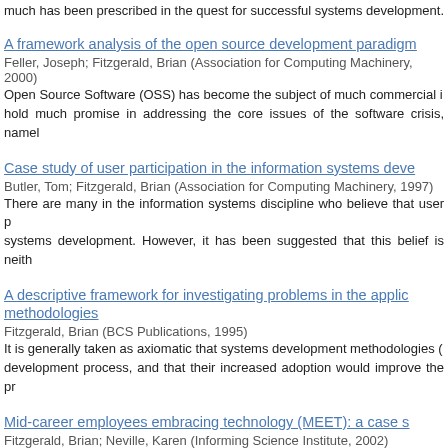much has been prescribed in the quest for successful systems development. H
A framework analysis of the open source development paradigm
Feller, Joseph; Fitzgerald, Brian (Association for Computing Machinery, 2000)
Open Source Software (OSS) has become the subject of much commercial i... hold much promise in addressing the core issues of the software crisis, namel
Case study of user participation in the information systems development
Butler, Tom; Fitzgerald, Brian (Association for Computing Machinery, 1997)
There are many in the information systems discipline who believe that user p... systems development. However, it has been suggested that this belief is neith
A descriptive framework for investigating problems in the application of methodologies
Fitzgerald, Brian (BCS Publications, 1995)
It is generally taken as axiomatic that systems development methodologies (... development process, and that their increased adoption would improve the pr
Mid-career employees embracing technology (MEET): a case s
Fitzgerald, Brian; Neville, Karen (Informing Science Institute, 2002)
The importance of information technology (IT) for modern business and, i